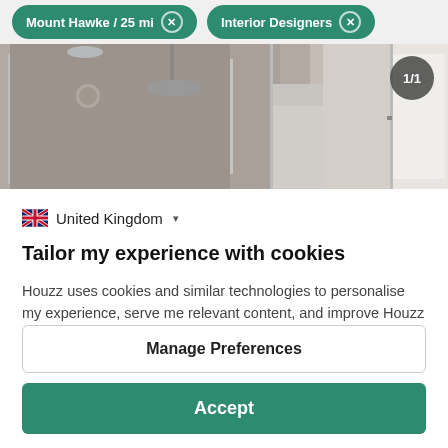Mount Hawke / 25 mi  ×    Interior Designers  ×
[Figure (photo): Bathroom interior with glass shower enclosure, grey walls, and rain shower head. Badge showing 1/1 in top right corner.]
🇬🇧 United Kingdom ▾
Tailor my experience with cookies
Houzz uses cookies and similar technologies to personalise my experience, serve me relevant content, and improve Houzz products and services. By clicking 'Accept' I agree to this, as further described in the Houzz Cookie Policy. I can reject non-
Manage Preferences
Accept